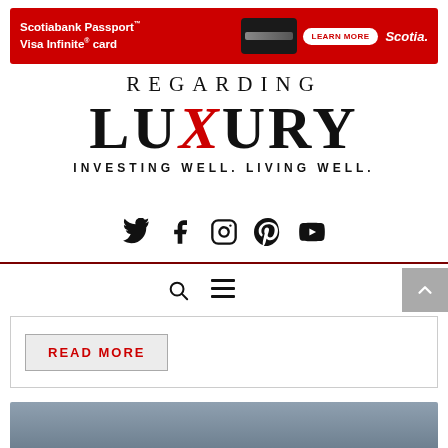[Figure (infographic): Scotiabank Passport Visa Infinite card advertisement banner with red background, card image, LEARN MORE button, and Scotia logo]
REGARDING LUXURY — INVESTING WELL. LIVING WELL.
[Figure (infographic): Social media icons: Twitter, Facebook, Instagram, Pinterest, YouTube — all black]
[Figure (infographic): Navigation bar with search icon and hamburger menu icon, and a grey scroll-to-top arrow button on the right]
[Figure (infographic): READ MORE button in a bordered box]
[Figure (photo): Partial view of an image at the bottom of the page, showing a grey/blue surface]